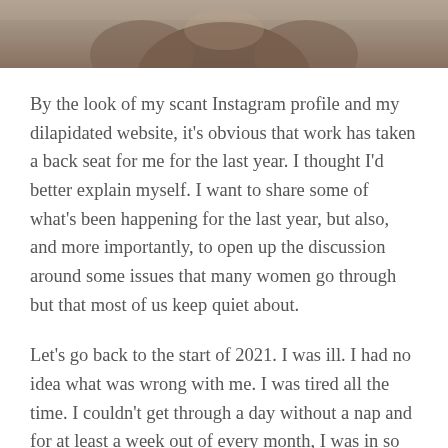[Figure (photo): Cropped photo showing the torso/midsection of a person, appearing dark and slightly blurred, cut off at the top of the page.]
By the look of my scant Instagram profile and my dilapidated website, it's obvious that work has taken a back seat for me for the last year.  I thought I'd better explain myself.   I want to share some of what's been happening for the last year, but also, and more importantly, to open up the discussion around some issues that many women go through but that most of us keep quiet about.
Let's go back to the start of 2021.  I was ill.  I had no idea what was wrong with me.  I was tired all the time.  I couldn't get through a day without a nap and for at least a week out of every month, I was in so much pain that I couldn't walk.  Most of the time I felt like my body was